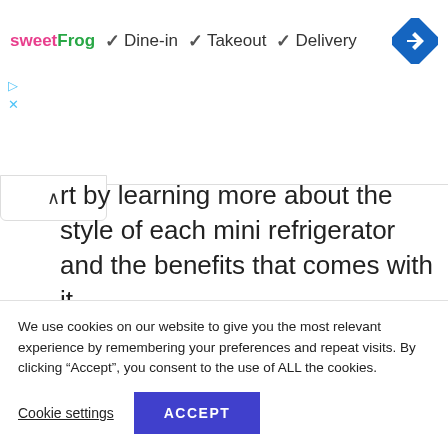[Figure (screenshot): sweetFrog advertisement banner with Dine-in, Takeout, Delivery checkmarks and a blue navigation diamond icon]
rt by learning more about the style of each mini refrigerator and the benefits that comes with it.
It would be prudent to go for a product that fits the space in your mobile home’s kitchen as well
We use cookies on our website to give you the most relevant experience by remembering your preferences and repeat visits. By clicking “Accept”, you consent to the use of ALL the cookies.
Cookie settings
ACCEPT